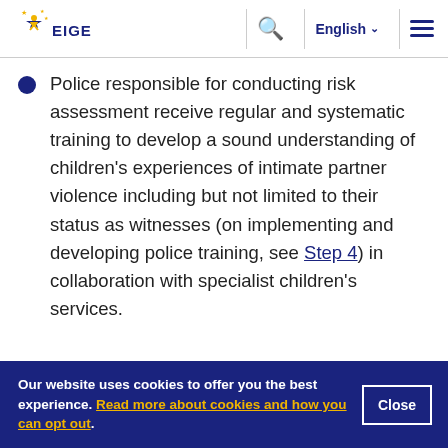EIGE — English
Police responsible for conducting risk assessment receive regular and systematic training to develop a sound understanding of children's experiences of intimate partner violence including but not limited to their status as witnesses (on implementing and developing police training, see Step 4) in collaboration with specialist children's services.
Our website uses cookies to offer you the best experience. Read more about cookies and how you can opt out.